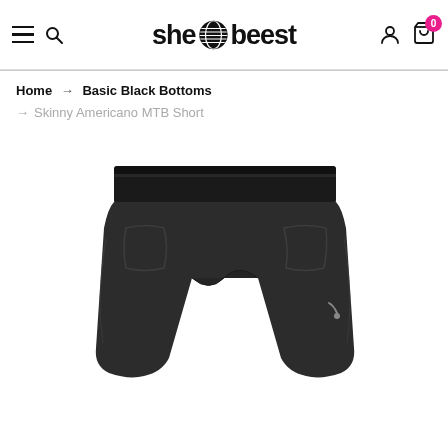she beest — navigation header with hamburger menu, search icon, logo, user icon, cart icon with badge 0
Home → Basic Black Bottoms → Skinny Americano MTB Short
[Figure (photo): Black women's MTB shorts with elastic waistband, front pockets, and side zip pocket, displayed on white background]